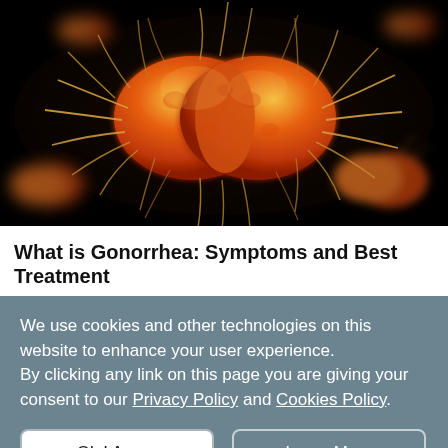[Figure (photo): Close-up microscopic illustration of Gonorrhea bacteria (Neisseria gonorrhoeae) — orange/yellow diplococci with flagella/pili extending outward, on a dark background with blurred similar bacteria in the periphery.]
What is Gonorrhea: Symptoms and Best Treatment
We use cookies and other technologies on this website to enhance your user experience.
By clicking any link on this page you are giving your consent to our Privacy Policy and Cookies Policy.
Ok I Agree
Learn More